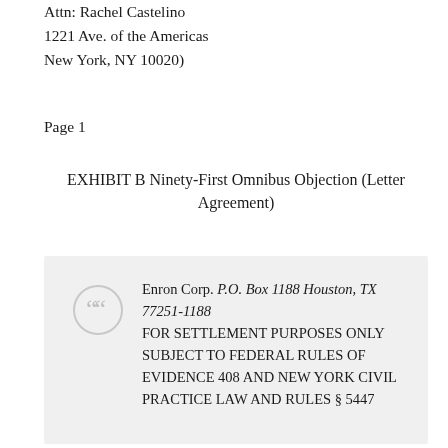Attn: Rachel Castelino
1221 Ave. of the Americas
New York, NY 10020)
Page 1
EXHIBIT B Ninety-First Omnibus Objection (Letter Agreement)
Enron Corp. P.O. Box 1188 Houston, TX 77251-1188
FOR SETTLEMENT PURPOSES ONLY SUBJECT TO FEDERAL RULES OF EVIDENCE 408 AND NEW YORK CIVIL PRACTICE LAW AND RULES § 5447